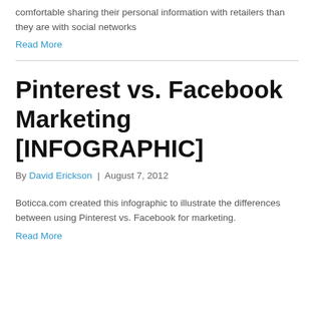comfortable sharing their personal information with retailers than they are with social networks
Read More
Pinterest vs. Facebook Marketing [INFOGRAPHIC]
By David Erickson | August 7, 2012
Boticca.com created this infographic to illustrate the differences between using Pinterest vs. Facebook for marketing.
Read More